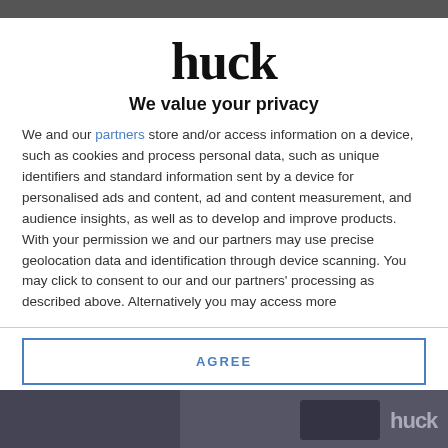[Figure (logo): Huck magazine logo — bold black text 'huck' in large serif font]
We value your privacy
We and our partners store and/or access information on a device, such as cookies and process personal data, such as unique identifiers and standard information sent by a device for personalised ads and content, ad and content measurement, and audience insights, as well as to develop and improve products. With your permission we and our partners may use precise geolocation data and identification through device scanning. You may click to consent to our and our partners' processing as described above. Alternatively you may access more
AGREE
MORE OPTIONS